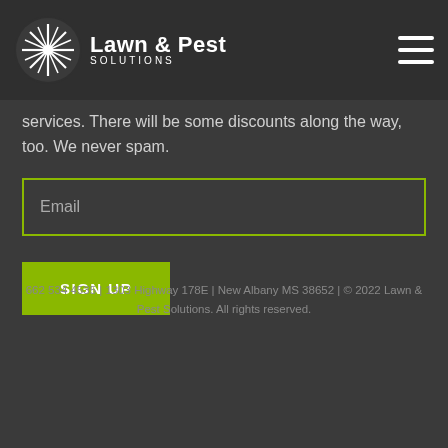Lawn & Pest SOLUTIONS
services. There will be some discounts along the way, too. We never spam.
662 534 4535 | 1303 Highway 178E | New Albany MS 38652 | © 2022 Lawn & Pest Solutions. All rights reserved.